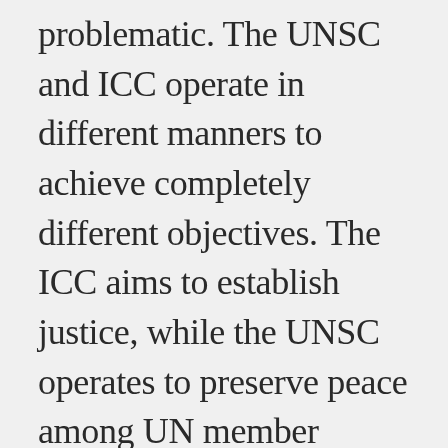problematic. The UNSC and ICC operate in different manners to achieve completely different objectives. The ICC aims to establish justice, while the UNSC operates to preserve peace among UN member states. The latter objective can be achieved through clandestine means, resulting